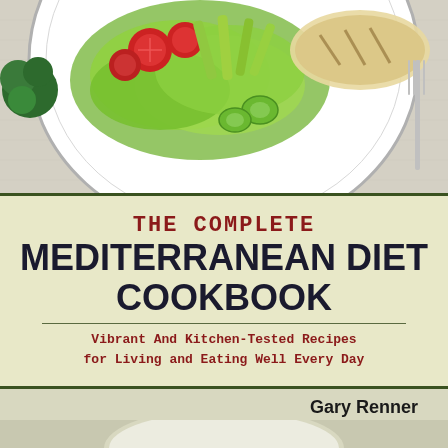[Figure (photo): Overhead view of a white plate with a Mediterranean salad featuring tomatoes, lettuce, cucumber, and grilled fish, on a light linen tablecloth with a fork visible on the right]
THE COMPLETE MEDITERRANEAN DIET COOKBOOK
Vibrant And Kitchen-Tested Recipes for Living and Eating Well Every Day
Gary Renner